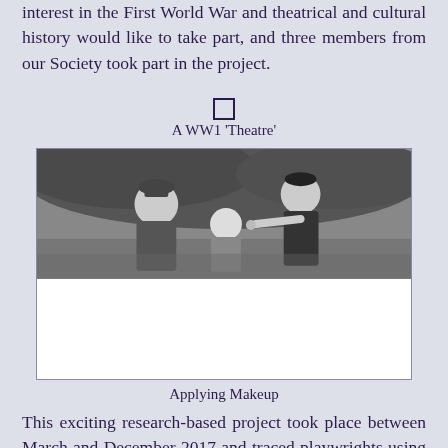interest in the First World War and theatrical and cultural history would like to take part, and three members from our Society took part in the project.
[Figure (illustration): Small square checkbox/icon symbol]
A WW1 'Theatre'
[Figure (photo): Black and white photograph showing people applying stage makeup, one person in military uniform, another seated being made up by a standing person.]
Applying Makeup
This exciting research-based project took place between March and December 2017 and traced playwrights using genealogy tools, typing-up 100-